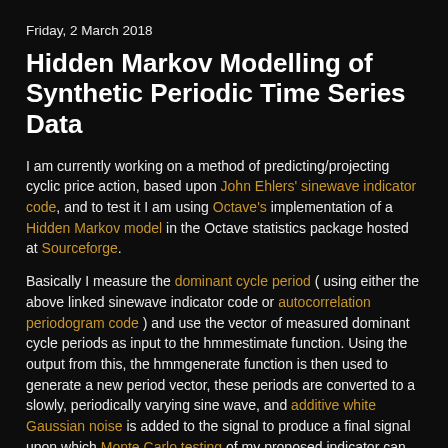Friday, 2 March 2018
Hidden Markov Modelling of Synthetic Periodic Time Series Data
I am currently working on a method of predicting/projecting cyclic price action, based upon John Ehlers' sinewave indicator code, and to test it I am using Octave's implementation of a Hidden Markov model in the Octave statistics package hosted at Sourceforge.
Basically I measure the dominant cycle period ( using either the above linked sinewave indicator code or autocorrelation periodogram code ) and use the vector of measured dominant cycle periods as input to the hmmestimate function. Using the output from this, the hmmgenerate function is then used to generate a new period vector, these periods are converted to a slowly, periodically varying sine wave, and additive white Gaussian noise is added to the signal to produce a final signal upon which Monte Carlo testing of my proposed indicator can be conducted. A typical